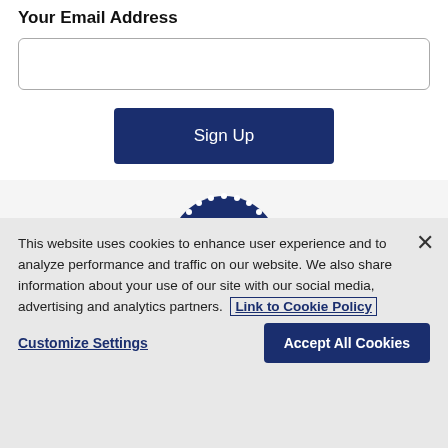Your Email Address
[email input field]
Sign Up
[Figure (logo): Pillsbury logo — dark navy blue semicircle with white dot border and white 'pillsbury' script text]
This website uses cookies to enhance user experience and to analyze performance and traffic on our website. We also share information about your use of our site with our social media, advertising and analytics partners. Link to Cookie Policy
Customize Settings
Accept All Cookies